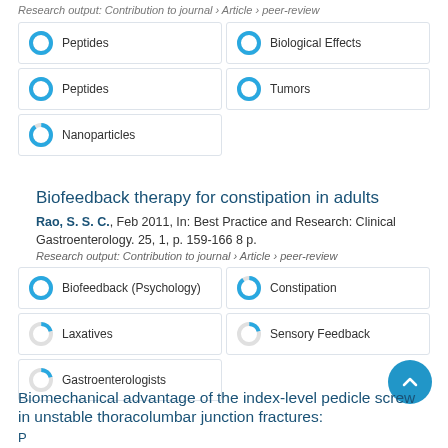Research output: Contribution to journal › Article › peer-review
Peptides (100%)
Biological Effects (100%)
Peptides (100%)
Tumors (100%)
Nanoparticles (90%)
Biofeedback therapy for constipation in adults
Rao, S. S. C., Feb 2011, In: Best Practice and Research: Clinical Gastroenterology. 25, 1, p. 159-166 8 p.
Research output: Contribution to journal › Article › peer-review
Biofeedback (Psychology) (100%)
Constipation (90%)
Laxatives (20%)
Sensory Feedback (20%)
Gastroenterologists (20%)
Biomechanical advantage of the index-level pedicle screw in unstable thoracolumbar junction fractures: